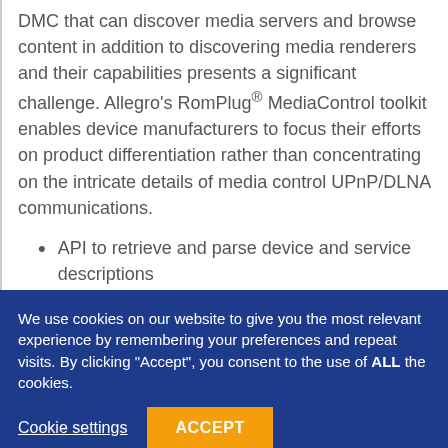DMC that can discover media servers and browse content in addition to discovering media renderers and their capabilities presents a significant challenge. Allegro's RomPlug® MediaControl toolkit enables device manufacturers to focus their efforts on product differentiation rather than concentrating on the intricate details of media control UPnP/DLNA communications.
API to retrieve and parse device and service descriptions
We use cookies on our website to give you the most relevant experience by remembering your preferences and repeat visits. By clicking "Accept", you consent to the use of ALL the cookies.